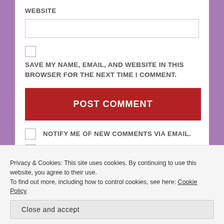WEBSITE
[Figure (other): Text input field for website URL]
[Figure (other): Checkbox for saving name, email, and website]
SAVE MY NAME, EMAIL, AND WEBSITE IN THIS BROWSER FOR THE NEXT TIME I COMMENT.
[Figure (other): POST COMMENT button (red)]
[Figure (other): Checkbox: NOTIFY ME OF NEW COMMENTS VIA EMAIL.]
[Figure (other): Checkbox: NOTIFY ME OF NEW POSTS VIA EMAIL.]
Privacy & Cookies: This site uses cookies. By continuing to use this website, you agree to their use.
To find out more, including how to control cookies, see here: Cookie Policy
Close and accept